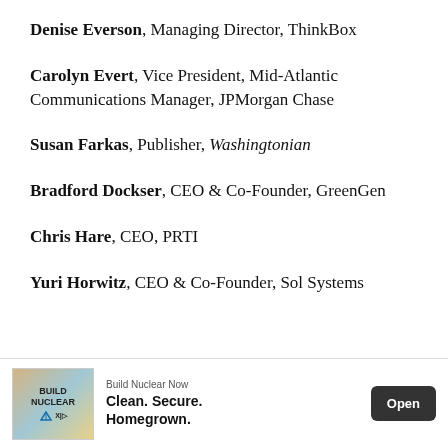Denise Everson, Managing Director, ThinkBox
Carolyn Evert, Vice President, Mid-Atlantic Communications Manager, JPMorgan Chase
Susan Farkas, Publisher, Washingtonian
Bradford Dockser, CEO & Co-Founder, GreenGen
Chris Hare, CEO, PRTI
Yuri Horwitz, CEO & Co-Founder, Sol Systems
[Figure (other): Advertisement banner: Build Nuclear Now — Clean. Secure. Homegrown. — Open button]